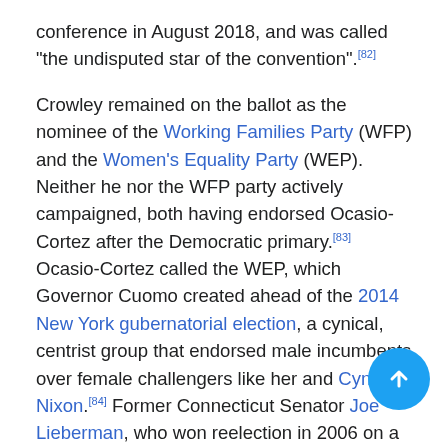conference in August 2018, and was called "the undisputed star of the convention".[82]
Crowley remained on the ballot as the nominee of the Working Families Party (WFP) and the Women's Equality Party (WEP). Neither he nor the WFP party actively campaigned, both having endorsed Ocasio-Cortez after the Democratic primary.[83] Ocasio-Cortez called the WEP, which Governor Cuomo created ahead of the 2014 New York gubernatorial election, a cynical, centrist group that endorsed male incumbents over female challengers like her and Cynthia Nixon.[84] Former Connecticut Senator Joe Lieberman, who won reelection in 2006 on a third-party line after losing the Democratic Primary in 2006, penned a July 17 column in the Wall Street Journal expressing hope that Crowley would actively campaign on the WFP ballot line.[85] WFP Executive Director Dan Cantor...